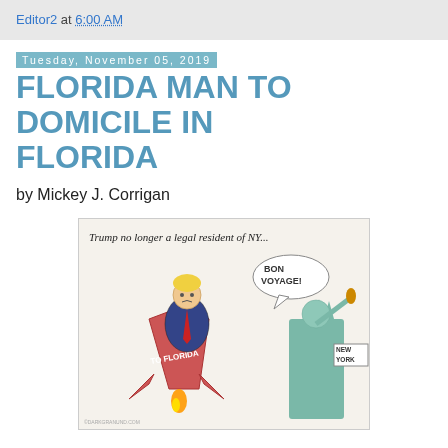Editor2 at 6:00 AM
Tuesday, November 05, 2019
FLORIDA MAN TO DOMICILE IN FLORIDA
by Mickey J. Corrigan
[Figure (illustration): Political cartoon showing Trump being launched in a rocket mailbox labeled 'TO FLORIDA' with text 'Trump no longer a legal resident of NY...' and the Statue of Liberty holding a 'NEW YORK' sign saying 'BON VOYAGE!' in a speech bubble.]